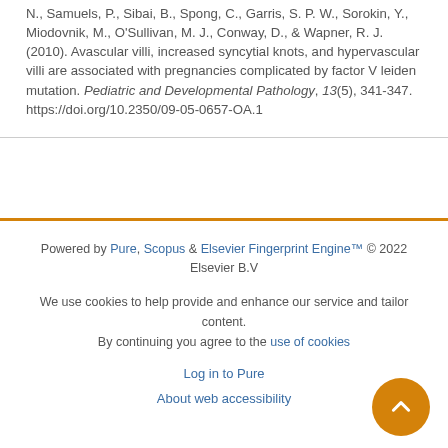N., Samuels, P., Sibai, B., Spong, C., Garris, S. P. W., Sorokin, Y., Miodovnik, M., O'Sullivan, M. J., Conway, D., & Wapner, R. J. (2010). Avascular villi, increased syncytial knots, and hypervascular villi are associated with pregnancies complicated by factor V leiden mutation. Pediatric and Developmental Pathology, 13(5), 341-347. https://doi.org/10.2350/09-05-0657-OA.1
Powered by Pure, Scopus & Elsevier Fingerprint Engine™ © 2022 Elsevier B.V
We use cookies to help provide and enhance our service and tailor content. By continuing you agree to the use of cookies
Log in to Pure
About web accessibility